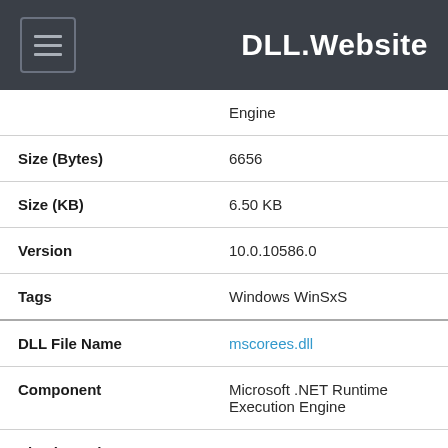DLL.Website
| Property | Value |
| --- | --- |
|  | Engine |
| Size (Bytes) | 6656 |
| Size (KB) | 6.50 KB |
| Version | 10.0.10586.0 |
| Tags | Windows WinSxS |
| DLL File Name | mscorees.dll |
| Component | Microsoft .NET Runtime Execution Engine |
| Size (Bytes) | 6656 |
| Size (KB) |  |